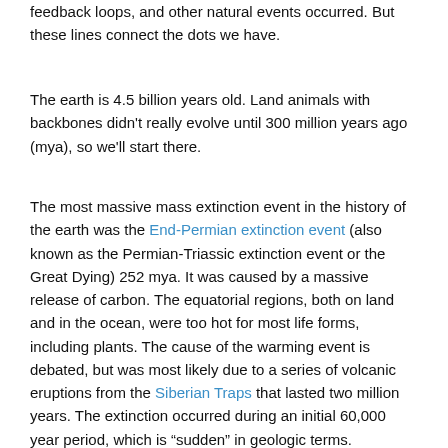feedback loops, and other natural events occurred. But these lines connect the dots we have.
The earth is 4.5 billion years old. Land animals with backbones didn't really evolve until 300 million years ago (mya), so we'll start there.
The most massive mass extinction event in the history of the earth was the End-Permian extinction event (also known as the Permian-Triassic extinction event or the Great Dying) 252 mya. It was caused by a massive release of carbon. The equatorial regions, both on land and in the ocean, were too hot for most life forms, including plants. The cause of the warming event is debated, but was most likely due to a series of volcanic eruptions from the Siberian Traps that lasted two million years. The extinction occurred during an initial 60,000 year period, which is "sudden" in geologic terms. Recovery of the ecosystem, basically a whole new evolutionary period to create new animals, took 2 to 10 million years.